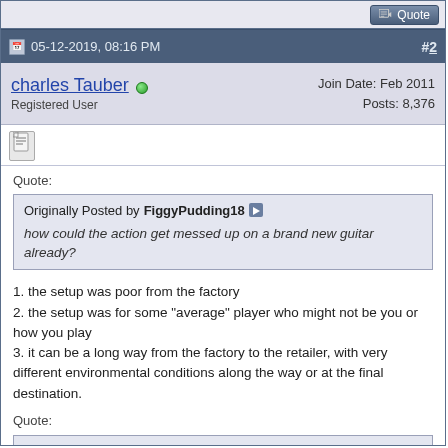Quote button area
05-12-2019, 08:16 PM  #2
charles Tauber  Online
Registered User
Join Date: Feb 2011
Posts: 8,376
Quote:
Originally Posted by FiggyPudding18
how could the action get messed up on a brand new guitar already?
1. the setup was poor from the factory
2. the setup was for some "average" player who might not be you or how you play
3. it can be a long way from the factory to the retailer, with very different environmental conditions along the way or at the final destination.
Quote:
I'm currently taking a break from playing for a couple of weeks because a strain that kept getting worse in my fretting hand index finger. I'm pretty sure the main reason this happened was just overuse, practicing "scrunchy" thumb chords that scrunched the index finger repeatedly and maybe pressing down too hard.